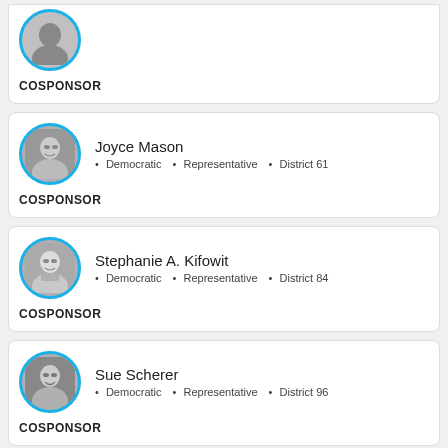[Figure (photo): Partial card with COSPONSOR label at top of page]
COSPONSOR
[Figure (photo): Circular portrait photo of Joyce Mason with blue border]
Joyce Mason · Democratic · Representative · District 61
COSPONSOR
[Figure (photo): Circular portrait photo of Stephanie A. Kifowit with blue border]
Stephanie A. Kifowit · Democratic · Representative · District 84
COSPONSOR
[Figure (photo): Circular portrait photo of Sue Scherer with blue border]
Sue Scherer · Democratic · Representative · District 96
COSPONSOR